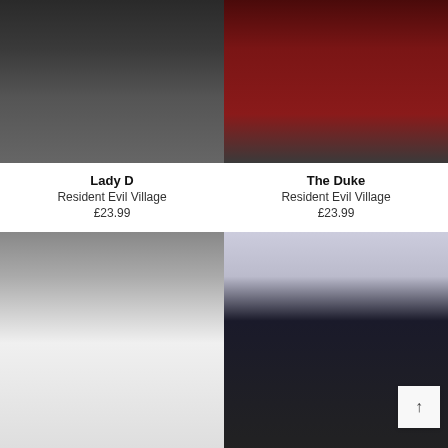[Figure (photo): Person wearing a black t-shirt with a graphic print, standing against a muted background. Product: Lady D t-shirt.]
Lady D
Resident Evil Village
£23.99
[Figure (photo): Person wearing a dark red/maroon t-shirt with a graphic print, standing against a blurred background. Product: The Duke t-shirt.]
The Duke
Resident Evil Village
£23.99
[Figure (photo): Person wearing a white oversized t-shirt with a group graphic print on the chest, standing against a concrete wall.]
[Figure (photo): Person wearing a black t-shirt with red and white stripe on the shoulder and N7 logo on the chest, with a scroll-to-top button visible in the corner.]